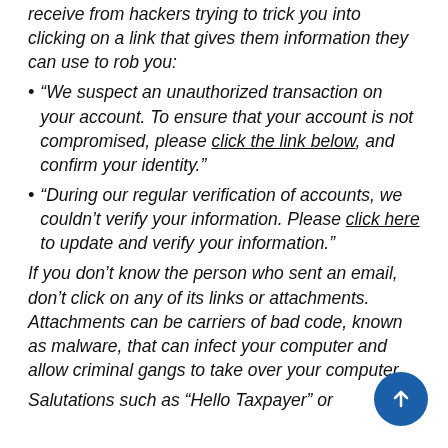receive from hackers trying to trick you into clicking on a link that gives them information they can use to rob you:
“We suspect an unauthorized transaction on your account. To ensure that your account is not compromised, please click the link below, and confirm your identity.”
“During our regular verification of accounts, we couldn’t verify your information. Please click here to update and verify your information.”
If you don’t know the person who sent an email, don’t click on any of its links or attachments. Attachments can be carriers of bad code, known as malware, that can infect your computer and allow criminal gangs to take over your computer.
Salutations such as “Hello Taxpayer” or